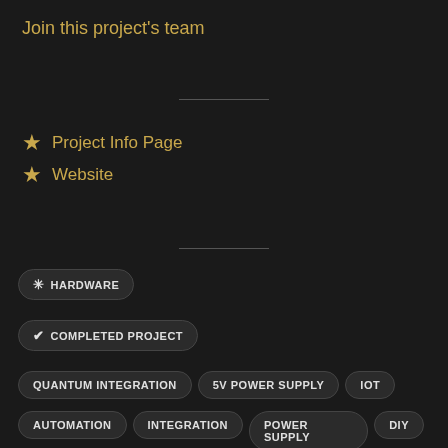Join this project's team
★ Project Info Page
★ Website
✳ HARDWARE
✓ COMPLETED PROJECT
QUANTUM INTEGRATION
5V POWER SUPPLY
IOT
AUTOMATION
INTEGRATION
POWER SUPPLY
DIY